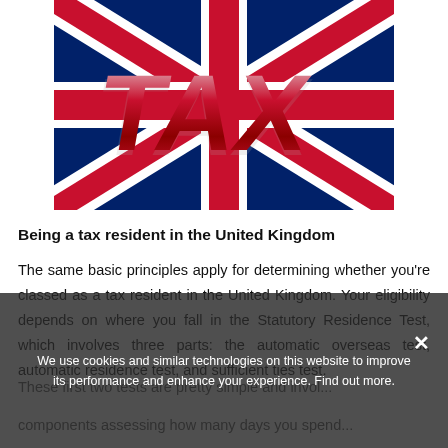[Figure (photo): UK Union Jack flag with large 3D glossy red and silver letters spelling TAX overlaid on the flag]
Being a tax resident in the United Kingdom
The same basic principles apply for determining whether you're classed as a tax resident in the United Kingdom. Your eligibility depends on where you fall in the Statutory Residence Test, which involves three parts: the automatic overseas test, automatic residence test, and sufficient ties test.
These first two tests are pretty simple and invol...
components assessing how many days you spend...
We use cookies and similar technologies on this website to improve its performance and enhance your experience. Find out more.